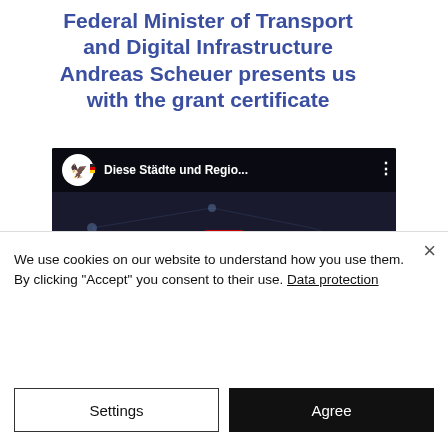Federal Minister of Transport and Digital Infrastructure Andreas Scheuer presents us with the grant certificate
[Figure (screenshot): YouTube video embed showing a German government video titled 'Diese Städte und Regio...' with a dark network visualization background, a red play button in the center, and the German Federal Eagle logo in the top-left corner.]
We use cookies on our website to understand how you use them. By clicking "Accept" you consent to their use. Data protection